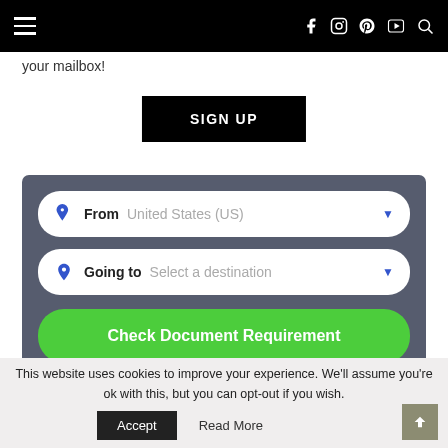Navigation bar with hamburger menu and social icons (Facebook, Instagram, Pinterest, YouTube, Search)
your mailbox!
SIGN UP
[Figure (screenshot): Travel document requirement widget with dark gray background. Contains two dropdown fields: 'From United States (US)' and 'Going to Select a destination', and a green 'Check Document Requirement' button.]
This website uses cookies to improve your experience. We'll assume you're ok with this, but you can opt-out if you wish.
Accept
Read More